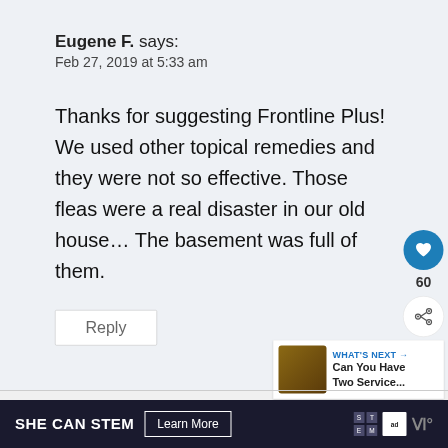Eugene F. says:
Feb 27, 2019 at 5:33 am
Thanks for suggesting Frontline Plus! We used other topical remedies and they were not so effective. Those fleas were a real disaster in our old house… The basement was full of them.
Reply
[Figure (screenshot): Heart/like icon (blue circle) with count 60, and share icon below]
[Figure (screenshot): WHAT'S NEXT arrow widget: thumbnail image of dogs, text 'Can You Have Two Service...']
[Figure (infographic): Ad banner: SHE CAN STEM, Learn More button, STEM logo, Ad Council logo, W logo]